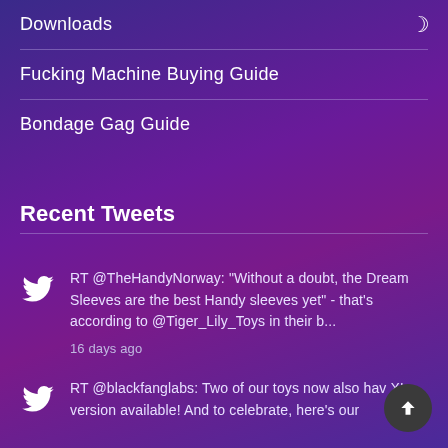Downloads
Fucking Machine Buying Guide
Bondage Gag Guide
Recent Tweets
RT @TheHandyNorway: "Without a doubt, the Dream Sleeves are the best Handy sleeves yet" - that's according to @Tiger_Lily_Toys in their b...
16 days ago
RT @blackfanglabs: Two of our toys now also hav XL version available! And to celebrate, here's our